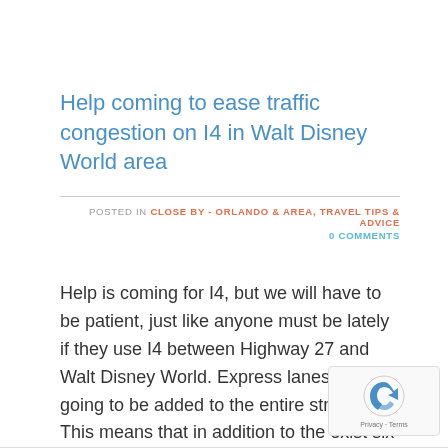Help coming to ease traffic congestion on I4 in Walt Disney World area
POSTED IN CLOSE BY - ORLANDO & AREA, TRAVEL TIPS & ADVICE
0 COMMENTS
Help is coming for I4, but we will have to be patient, just like anyone must be lately if they use I4 between Highway 27 and Walt Disney World. Express lanes are going to be added to the entire stretch. This means that in addition to the exist six lanes